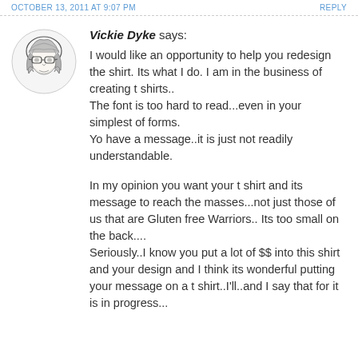OCTOBER 13, 2011 AT 9:07 PM    REPLY
[Figure (illustration): Sketch/illustration avatar of a woman with short hair and glasses, drawn in pencil/ink style]
Vickie Dyke says: I would like an opportunity to help you redesign the shirt. Its what I do. I am in the business of creating t shirts.. The font is too hard to read...even in your simplest of forms. Yo have a message..it is just not readily understandable.

In my opinion you want your t shirt and its message to reach the masses...not just those of us that are Gluten free Warriors.. Its too small on the back.... Seriously..I know you put a lot of $$ into this shirt and your design and I think its wonderful putting your message on a t shirt..I'll..and I say that for it is in progress...